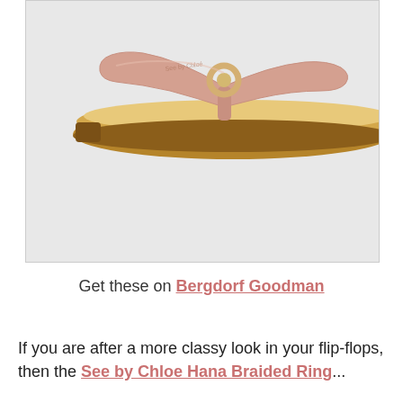[Figure (photo): A side-view photograph of a rose gold/nude thong sandal (flip-flop) with a flat sole, tan insole, and a metallic ring at the toe strap. The sandal has branding text on the strap. Background is light gray.]
Get these on Bergdorf Goodman
If you are after a more classy look in your flip-flops, then the See by Chloe Hana Braided Ring...